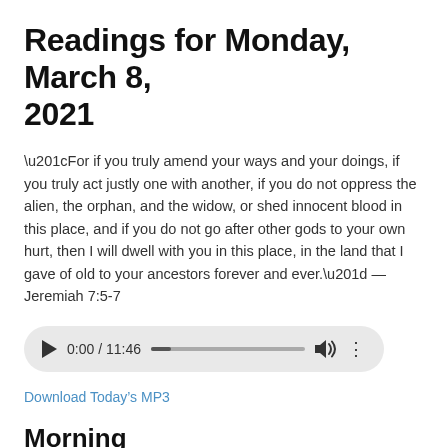Readings for Monday, March 8, 2021
“For if you truly amend your ways and your doings, if you truly act justly one with another, if you do not oppress the alien, the orphan, and the widow, or shed innocent blood in this place, and if you do not go after other gods to your own hurt, then I will dwell with you in this place, in the land that I gave of old to your ancestors forever and ever.” — Jeremiah 7:5-7
[Figure (screenshot): Audio player UI showing play button, time 0:00 / 11:46, progress bar, volume icon, and options menu dots]
Download Today’s MP3
Morning
Psalm 119:73-80